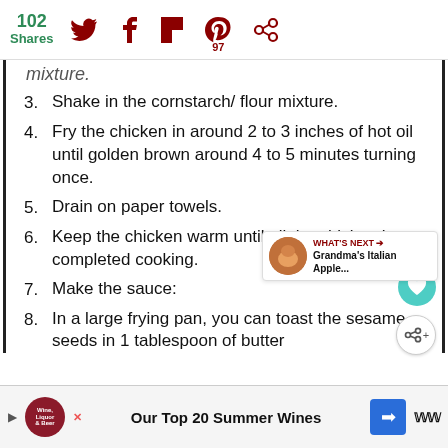102 Shares | Twitter | Facebook | Flipboard | Pinterest 97 | Save
mixture.
3. Shake in the cornstarch/ flour mixture.
4. Fry the chicken in around 2 to 3 inches of hot oil until golden brown around 4 to 5 minutes turning once.
5. Drain on paper towels.
6. Keep the chicken warm until all the chicken has completed cooking.
7. Make the sauce:
8. In a large frying pan, you can toast the sesame seeds in 1 tablespoon of butter
Our Top 20 Summer Wines